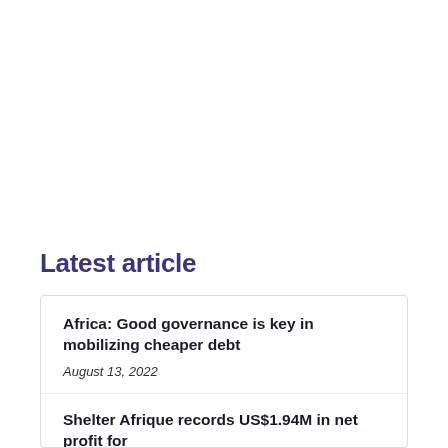Latest article
Africa: Good governance is key in mobilizing cheaper debt
August 13, 2022
Shelter Afrique records US$1.94M in net profit for